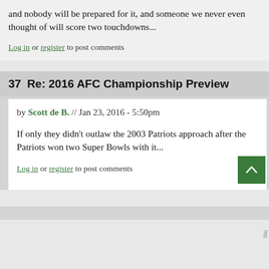and nobody will be prepared for it, and someone we never even thought of will score two touchdowns...
Log in or register to post comments
37  Re: 2016 AFC Championship Preview
by Scott de B. // Jan 23, 2016 - 5:50pm
If only they didn't outlaw the 2003 Patriots approach after the Patriots won two Super Bowls with it...
Log in or register to post comments